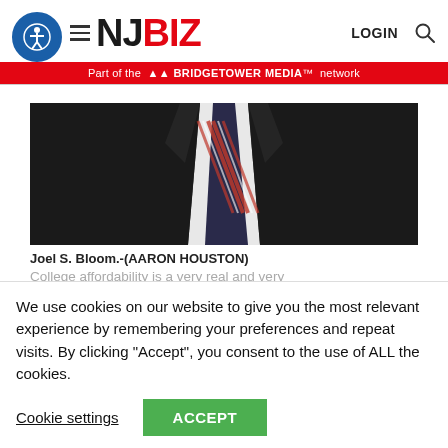NJBIZ - LOGIN
Part of the BridgeTower Media network
[Figure (photo): Close-up photo of a man in a dark suit and striped tie, torso only visible, dark blurred background]
Joel S. Bloom.-(AARON HOUSTON)
College affordability is a very real and very
We use cookies on our website to give you the most relevant experience by remembering your preferences and repeat visits. By clicking “Accept”, you consent to the use of ALL the cookies.
Cookie settings  ACCEPT